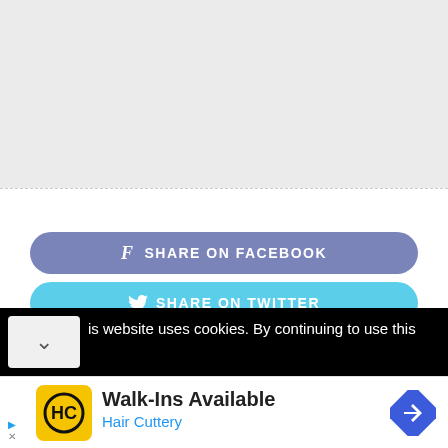[Figure (screenshot): Gray empty content area at top of webpage]
[Figure (screenshot): Facebook share button - rounded rectangle in muted purple/blue color with Facebook f icon and text SHARE ON FACEBOOK in white caps]
[Figure (screenshot): Twitter share button - rounded rectangle in light blue color with Twitter bird icon and text SHARE ON TWITTER in white caps]
is website uses cookies. By continuing to use this
[Figure (screenshot): Advertisement banner for Hair Cuttery: Walk-Ins Available with logo and blue navigation arrow icon]